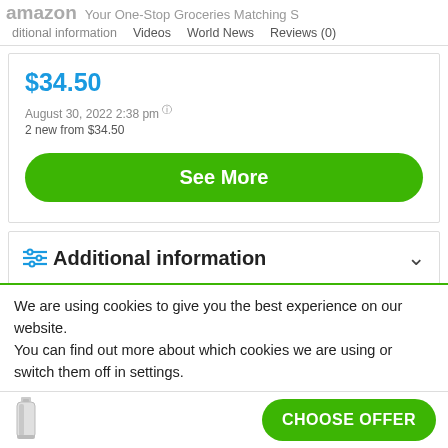amazon  Additional information  Videos  World News  Reviews (0)
$34.50
August 30, 2022 2:38 pm
2 new from $34.50
See More
Additional information
We are using cookies to give you the best experience on our website.
You can find out more about which cookies we are using or switch them off in settings.
CHOOSE OFFER